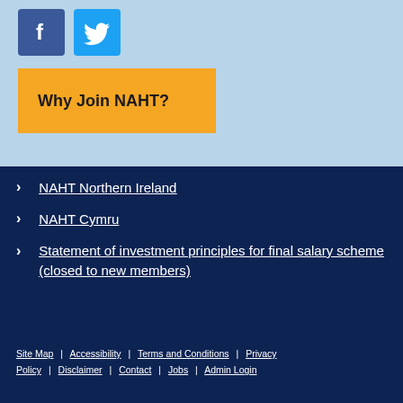[Figure (logo): Facebook logo icon (blue square with white F)]
[Figure (logo): Twitter logo icon (light blue square with white bird)]
Why Join NAHT?
NAHT Northern Ireland
NAHT Cymru
Statement of investment principles for final salary scheme (closed to new members)
Site Map | Accessibility | Terms and Conditions | Privacy Policy | Disclaimer | Contact | Jobs | Admin Login